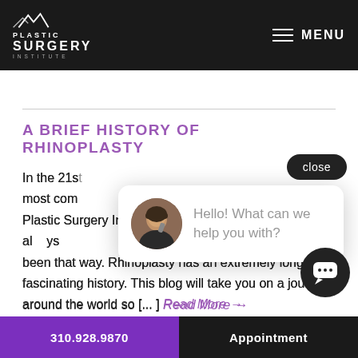PLASTIC SURGERY INSTITUTE | MENU
worst, some people, including teenagers, are bullied on a daily basis for having a big nose. We heard about a high
A BRIEF HISTORY OF RHINOPLASTY
In the 21s[t century, rhinoplasty is one of the] most com[mon plastic surgery procedures at] Plastic Surgery Institute in Beverly Hills. But it hasn't always been that way. Rhinoplasty has an extremely long and fascinating history. This blog will take you on a journey around the world so [... ] Read More →
[Figure (screenshot): Chat popup with avatar photo of a woman on a phone and text: Hello! What can we help you with?]
310.928.9870 | Appointment